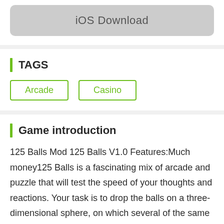[Figure (other): iOS Download button — rounded rectangle with grey background and text 'iOS Download']
TAGS
Arcade
Casino
Game introduction
125 Balls Mod 125 Balls V1.0 Features:Much money125 Balls is a fascinating mix of arcade and puzzle that will test the speed of your thoughts and reactions. Your task is to drop the balls on a three-dimensional sphere, on which several of the same balls are already located. The only condition is that he should not touch any of them. Everything is complicated by the fact that you see